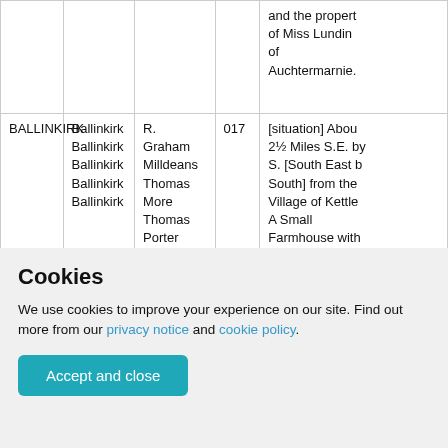|  |  |  |  |  |
| --- | --- | --- | --- | --- |
|  |  |  |  | and the property of Miss Lundin of Auchtermarnie. |
| BALLINKIRK | Ballinkirk
Ballinkirk
Ballinkirk
Ballinkirk
Ballinkirk | R. Graham
Milldeans
Thomas More
Thomas Porter
James Thomas.
Register of Co | 017 | [situation] About 2½ Miles S.E. by S. [South East by South] from the Village of Kettle. A Small Farmhouse with offices attached in tolerable repair; the |
Cookies
We use cookies to improve your experience on our site. Find out more from our privacy notice and cookie policy.
Accept and close